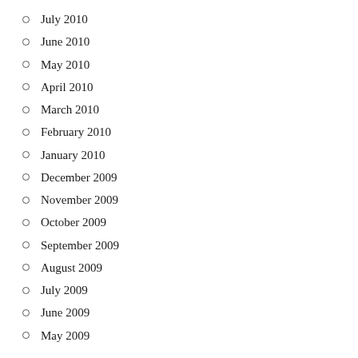July 2010
June 2010
May 2010
April 2010
March 2010
February 2010
January 2010
December 2009
November 2009
October 2009
September 2009
August 2009
July 2009
June 2009
May 2009